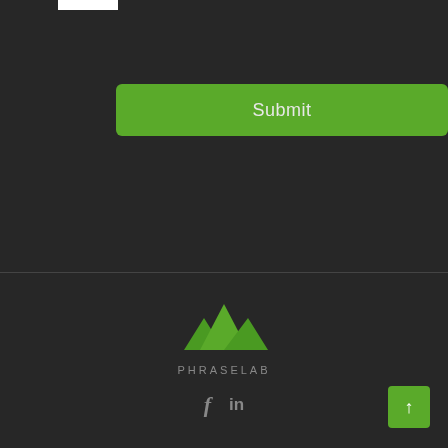[Figure (screenshot): White bar/tab fragment at top of page]
Submit
[Figure (logo): PhraseLab logo: three green mountain peaks above the text PHRASELAB in grey spaced capitals]
[Figure (infographic): Social media icons: f (Facebook) and in (LinkedIn) in grey, and a green square back-to-top arrow button in the bottom right corner]